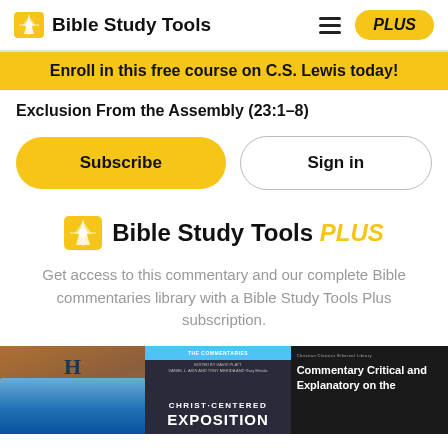Bible Study Tools
Enroll in this free course on C.S. Lewis today!
Exclusion From the Assembly (23:1–8)
Subscribe
Sign in
[Figure (logo): Bible Study Tools PLUS logo with golden star icon]
Get access to this commentary and our complete Bible commentaries library with a Bible Study Tools Plus subscription.
[Figure (photo): Three book covers shown at the bottom: a landscape/scenery commentary book, a Christ-Centered Exposition book, and Commentary Critical and Explanatory on the (Bible)]